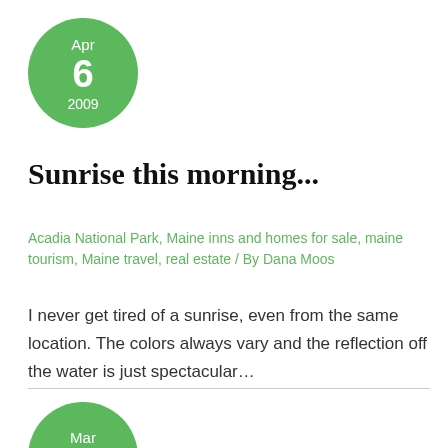[Figure (other): Green circular date badge showing Apr 6 2009]
Sunrise this morning...
Acadia National Park, Maine inns and homes for sale, maine tourism, Maine travel, real estate / By Dana Moos
I never get tired of a sunrise, even from the same location. The colors always vary and the reflection off the water is just spectacular…
[Figure (other): Green circular date badge showing Mar 24 (partially visible)]